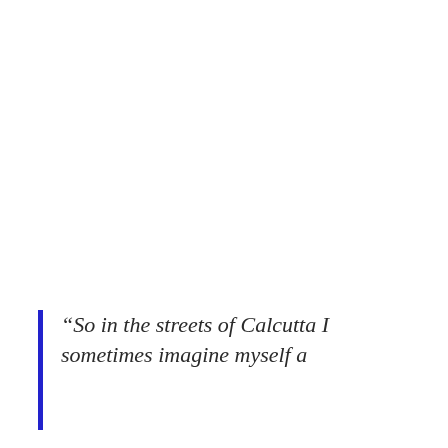“So in the streets of Calcutta I sometimes imagine myself a